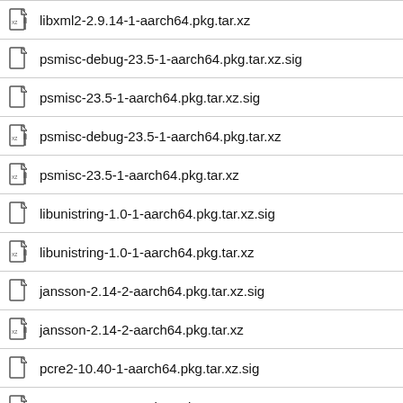libxml2-2.9.14-1-aarch64.pkg.tar.xz
psmisc-debug-23.5-1-aarch64.pkg.tar.xz.sig
psmisc-23.5-1-aarch64.pkg.tar.xz.sig
psmisc-debug-23.5-1-aarch64.pkg.tar.xz
psmisc-23.5-1-aarch64.pkg.tar.xz
libunistring-1.0-1-aarch64.pkg.tar.xz.sig
libunistring-1.0-1-aarch64.pkg.tar.xz
jansson-2.14-2-aarch64.pkg.tar.xz.sig
jansson-2.14-2-aarch64.pkg.tar.xz
pcre2-10.40-1-aarch64.pkg.tar.xz.sig
pcre2-10.40-1-aarch64.pkg.tar.xz
libsasl-2.1.28-1-aarch64.pkg.tar.xz.sig
libsasl-debug-2.1.28-1-aarch64.pkg.tar.xz.sig